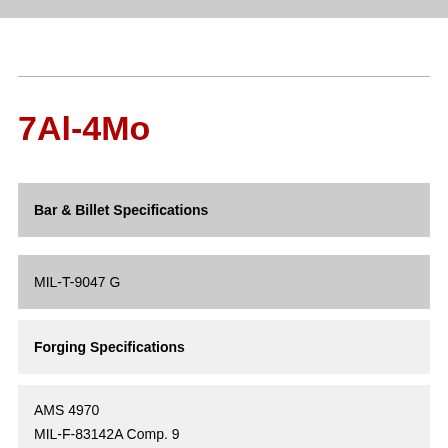7Al-4Mo
Bar & Billet Specifications
MIL-T-9047 G
Forging Specifications
AMS 4970
MIL-F-83142A Comp. 9